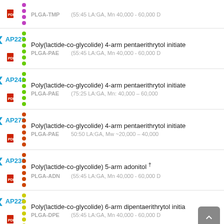PLGA-TMP (55:45 LA:GA, Mn 40,000 - 60,000 D
AP227 Poly(lactide-co-glycolide) 4-arm pentaerithrytol initiated
PLGA-PAE (55:45 LA:GA, Mn 40,000 - 60,000 D
AP241 Poly(lactide-co-glycolide) 4-arm pentaerithrytol initiated
PLGA-PAE (75:25 LA:GA, Mn: 40,000 – 60,000
AP278 Poly(lactide-co-glycolide) 4-arm pentaerithrytol initiated
PLGA-PAE 50:50 LA:GA, Mw ~20,000 – 40,000
AP236 Poly(lactide-co-glycolide) 5-arm adonitol †
PLGA-ADN (55:45 LA:GA, Mn 40,000 - 60,000 D
AP228 Poly(lactide-co-glycolide) 6-arm dipentaerithrytol initiated
PLGA-DPE (55:45 LA:GA, Mn 40,000 - 60,000 D
AP242 Poly(lactide-co-glycolide) 6-arm dipentaerithrytol initiated
PLGA-DPE (75:25 LA:GA, Mn: 40,000 - 60,000D